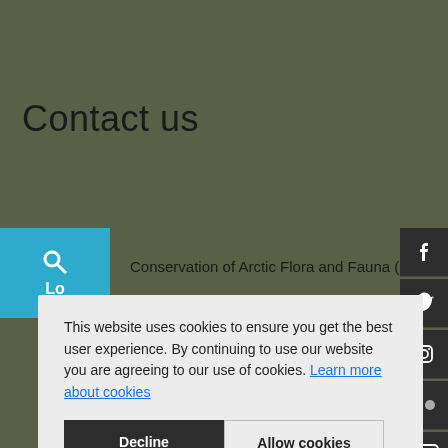Contact us
Conservation of Arctic Flora and Fauna (CAFF)
This website uses cookies to ensure you get the best user experience. By continuing to use our website you are agreeing to our use of cookies. Learn more about cookies
Decline
Allow cookies